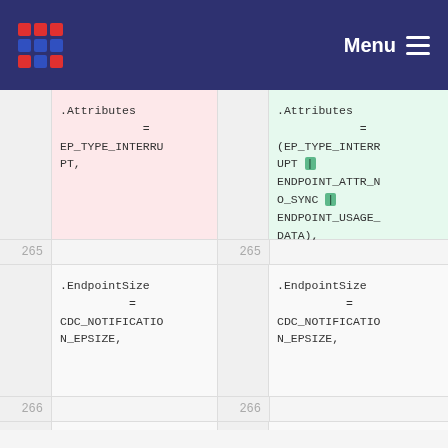Menu
.Attributes = EP_TYPE_INTERRUPT,
.Attributes = (EP_TYPE_INTERRUPT | ENDPOINT_ATTR_NO_SYNC | ENDPOINT_USAGE_DATA),
265
265
.EndpointSize = CDC_NOTIFICATION_EPSIZE,
.EndpointSize = CDC_NOTIFICATION_EPSIZE,
266
266